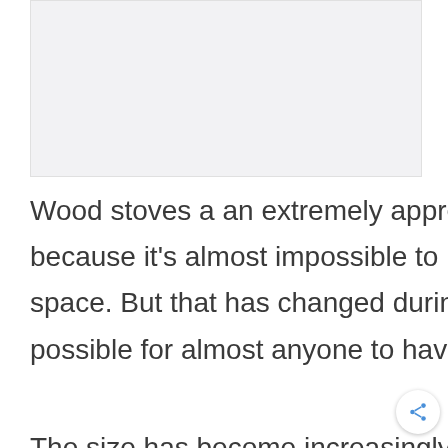[Figure (photo): Light gray rectangular image placeholder at top of page]
Wood stoves a an extremely appreciated feature in a home. It's mostly because it's almost impossible to have one. They usually take a lot of space. But that has changed during the past few years and it has made possible for almost anyone to have a wood stove in their home.
The size has become increasingly smaller